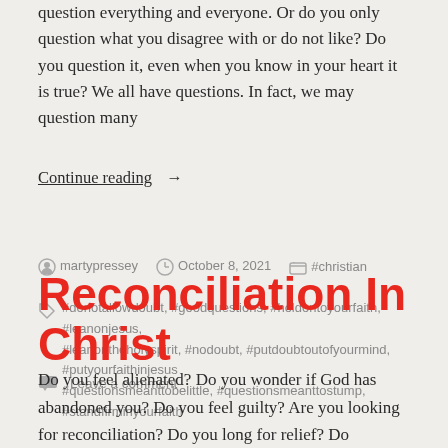question everything and everyone. Or do you only question what you disagree with or do not like? Do you question it, even when you know in your heart it is true? We all have questions. In fact, we may question many
Continue reading →
martypressey   October 8, 2021   #christian
#donotallowdoubt, #goodquestions, #holdontoyourfaith, #leanonjesus, #leanontheholyspirit, #nodoubt, #putdoubtoutofyourmind, #putyourfaithinjesus #questionsmeanttobelittle, #questionsmeanttostump, #standfirminyourfaith
Leave a comment
Reconciliation In Christ
Do you feel alienated? Do you wonder if God has abandoned you? Do you feel guilty? Are you looking for reconciliation? Do you long for relief? Do